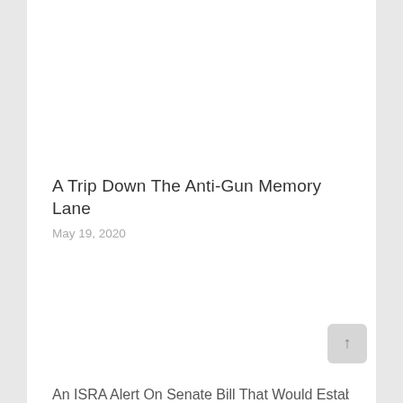A Trip Down The Anti-Gun Memory Lane
May 19, 2020
An ISRA Alert On Senate Bill That Would Establish